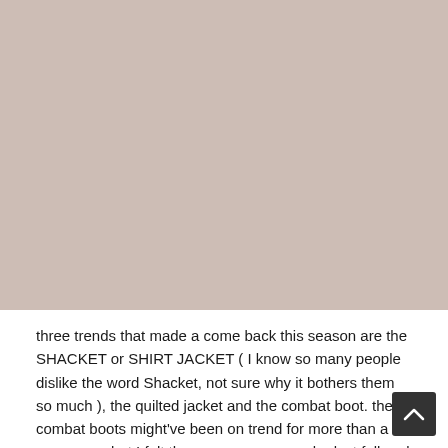[Figure (photo): A large image placeholder area with a muted pinkish-beige/mauve background color occupying the upper portion of the page.]
three trends that made a come back this season are the SHACKET or SHIRT JACKET ( I know so many people dislike the word Shacket, not sure why it bothers them so much ), the quilted jacket and the combat boot. the combat boots might've been on trend for more than a year or so, but I felt they were super popular last fall and winter, and I'm seeing them again a